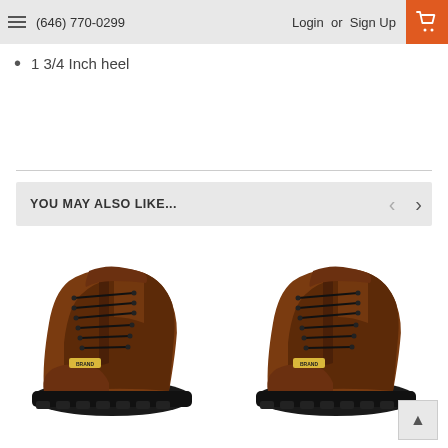(646) 770-0299  Login or Sign Up
1 3/4 Inch heel
YOU MAY ALSO LIKE...
[Figure (photo): Two brown leather lace-up work/hunting boots shown side by side, both facing left, with lug soles and a label on the side. The boots appear identical.]